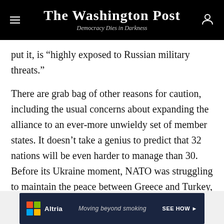The Washington Post — Democracy Dies in Darkness
put it, is “highly exposed to Russian military threats.”
There are grab bag of other reasons for caution, including the usual concerns about expanding the alliance to an ever-more unwieldy set of member states. It doesn’t take a genius to predict that 32 nations will be even harder to manage than 30. Before its Ukraine moment, NATO was struggling to maintain the peace between Greece and Turkey, few nations were meeting the 2% spending goal, and President Emmanuel Macron of France had drawn headlines for suggesting the alliance was experiencing “brain death.”
[Figure (other): Advertisement banner for Altria: 'Moving beyond smoking' with SEE HOW call to action on a dark blue background with Microsoft-style colorful grid logo.]